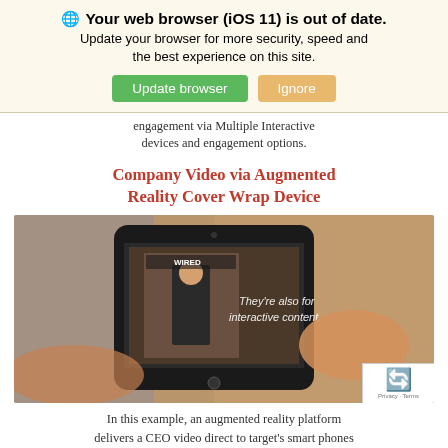[Figure (screenshot): Browser update warning banner with globe icon, bold title 'Your web browser (iOS 11) is out of date.', body text 'Update your browser for more security, speed and the best experience on this site.', green 'Update browser' button and orange 'Ignore' button on beige background]
engagement via Multiple Interactive devices and engagement options.
Company Video via Augmented Reality Cover Wrap Device
[Figure (photo): Hands holding a smartphone scanning a magazine cover using augmented reality. White text overlay reads 'They're also for interactive content.' The phone displays a CEO figure on screen.]
In this example, an augmented reality platform delivers a CEO video direct to target's smart phones